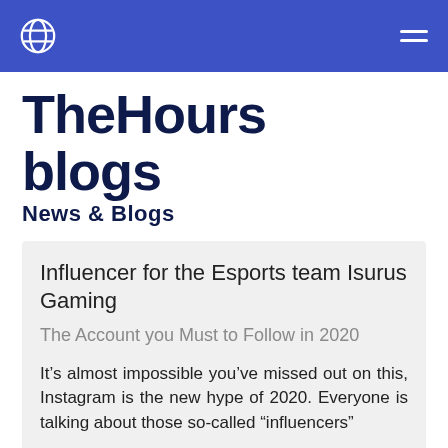TheHours blogs navigation bar
TheHours blogs
News &  Blogs
Influencer for the Esports team Isurus Gaming
The Account you Must to Follow in 2020
It’s almost impossible you’ve missed out on this, Instagram is the new hype of 2020. Everyone is talking about those so-called “influencers”